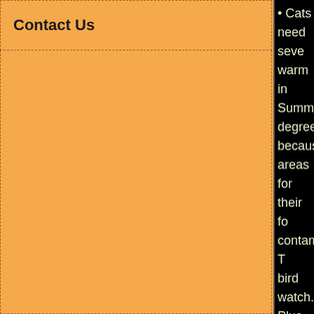Contact Us
• Cats need several places to be warm in Summer up to 100 degrees, because they use separate areas for their food to prevent contamination. They like to bird watch.  Plus, they have individual human...
• Cats also need ... come into contact... litter.
• Fresh water nee... once or twice a d...
• Litters boxes sh... should be fresh a... litter boxes works... clumping and is s... feet due to the si...
• A cattery should... them in cages or... the habitats.